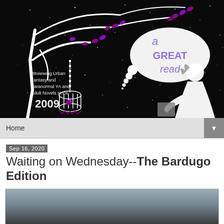[Figure (illustration): Blog header banner with black starry night background. White tree branches with purple leaves on the left. A white birdcage hanging from a branch with a purple bird inside. Text reads 'Reviewing Urban Fantasy and Paranormal YA and Adult Novels since 2009'. A thought bubble on the upper right reads 'a GREAT read' in purple/white text. A white silhouette of a girl reading a book on the right.]
Home ▼
Sep 16, 2020
Waiting on Wednesday--The Bardugo Edition
[Figure (photo): Bottom portion of a book cover image, partially visible, with a blurred grey/blue background and a dark figure.]